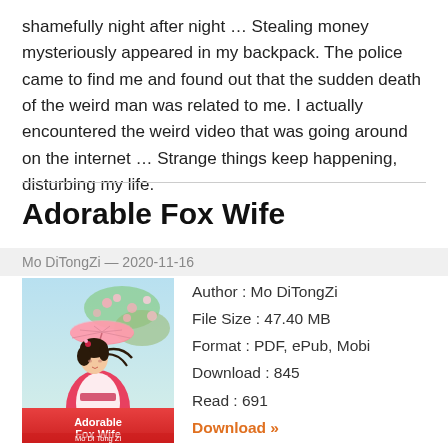shamefully night after night … Stealing money mysteriously appeared in my backpack. The police came to find me and found out that the sudden death of the weird man was related to me. I actually encountered the weird video that was going around on the internet … Strange things keep happening, disturbing my life.
Adorable Fox Wife
Mo DiTongZi — 2020-11-16
[Figure (illustration): Book cover for Adorable Fox Wife by Mo Di Tong Zi, showing a young woman in traditional Chinese clothing holding a pink umbrella with cherry blossoms in background. Text on cover reads: Adorable Fox Wife, Mo Di Tong Zi]
Author : Mo DiTongZi
File Size : 47.40 MB
Format : PDF, ePub, Mobi
Download : 845
Read : 691
Download »
Disfigurement? Trash? A family